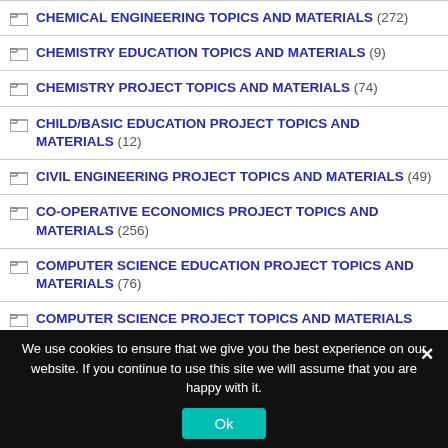CHEMICAL ENGINEERING TOPICS AND MATERIALS (272)
CHEMISTRY EDUCATION TOPICS AND MATERIALS (9)
CHEMISTRY PROJECT TOPICS AND MATERIALS (74)
CHILD/BASIC EDUCATION PROJECT TOPICS AND MATERIALS (12)
CIVIL ENGINEERING PROJECT TOPICS AND MATERIALS (49)
CO-OPERATIVE ECONOMICS PROJECT TOPICS AND MATERIALS (256)
COMPUTER SCIENCE EDUCATION PROJECT TOPICS AND MATERIALS (76)
COMPUTER SCIENCE PROJECT TOPICS AND MATERIALS (871)
We use cookies to ensure that we give you the best experience on our website. If you continue to use this site we will assume that you are happy with it.